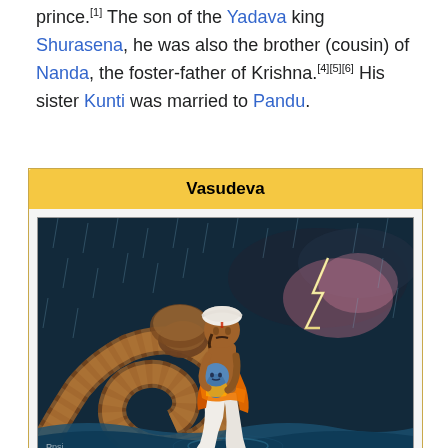prince.[1] The son of the Yadava king Shurasena, he was also the brother (cousin) of Nanda, the foster-father of Krishna.[4][5][6] His sister Kunti was married to Pandu.
| Vasudeva |
| --- |
[Figure (illustration): Painting of Vasudeva, a man wearing a white dhoti and orange shawl with a white turban, carrying the infant Krishna (depicted with blue skin) across a river during a rainstorm. A large serpent Shesha Naga coils behind him providing shelter. Lightning flashes in the dark background.]